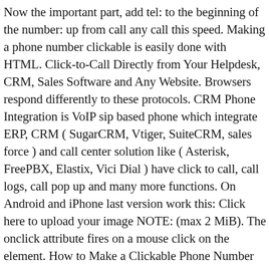Now the important part, add tel: to the beginning of the number: up from call any call this speed. Making a phone number clickable is easily done with HTML. Click-to-Call Directly from Your Helpdesk, CRM, Sales Software and Any Website. Browsers respond differently to these protocols. CRM Phone Integration is VoIP sip based phone which integrate ERP, CRM ( SugarCRM, Vtiger, SuiteCRM, sales force ) and call center solution like ( Asterisk, FreePBX, Elastix, Vici Dial ) have click to call, call logs, call pop up and many more functions. On Android and iPhone last version work this: Click here to upload your image NOTE: (max 2 MiB). The onclick attribute fires on a mouse click on the element. How to Make a Clickable Phone Number With HTML. NO CODING REQUIRED! Click to call used to be provided by Cisco and fully functional with Office an IE. Sometimes progress and dependence upon 3rd party integrations makes a solution too difficult for the average client to consume and they will look another way. Essentially it would have to dial, pause for a bit and then dial another set of